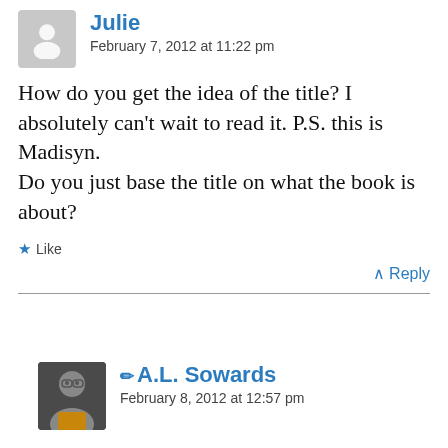Julie
February 7, 2012 at 11:22 pm
How do you get the idea of the title? I absolutely can't wait to read it. P.S. this is Madisyn.
Do you just base the title on what the book is about?
Like
Reply
A.L. Sowards
February 8, 2012 at 12:57 pm